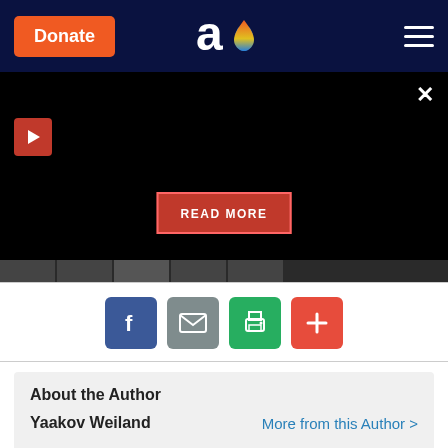Donate | [Aish logo] | [Menu]
[Figure (screenshot): Video player area with black background, red play button top-left, close X button top-right, READ MORE red button in center, and a progress strip at the bottom]
[Figure (infographic): Social sharing icons row: Facebook (blue), Email (gray), Print (green), Plus/More (red)]
About the Author
Yaakov Weiland
More from this Author >
Yaakov Weiland has an MSW from Fordham School of Social Service and lives in New York City. He has